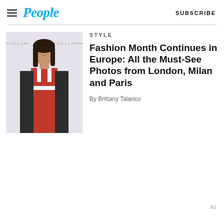People | SUBSCRIBE
[Figure (photo): Woman in red dress with black blazer at a Valli event, smiling at camera]
STYLE
Fashion Month Continues in Europe: All the Must-See Photos from London, Milan and Paris
By Brittany Talarico
Ad